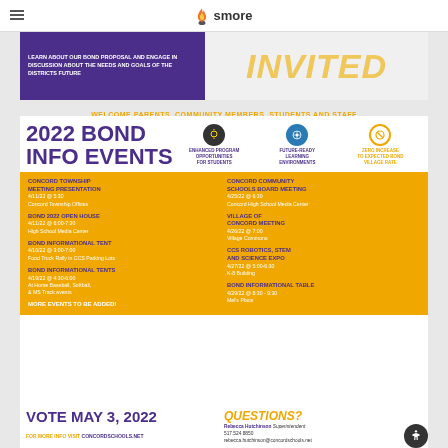smore
LEARN ABOUT OUR BOND PROPOSAL AND ENGAGE IN DISCUSSION ABOUT THE NEEDS AND GOALS OF THE DISTRICTS FUTURE
INVITED
WELCOME PARENTS, COMMUNITY MEMBERS, STUDENTS AND STAFF
2022 BOND INFO EVENTS
ENHANCED PROGRAM OPPORTUNITIES FOR STUDENTS
FUTURE-READY LEARNING ENVIRONMENTS
ZERO INCREASE TO EXPECTED BOND VILLAGE RATE
CONCORD TOWNSHIP MEETING PRESENTATION
4/11/22 @ 5:30
Concord Township Offices
BOND 2022 OPEN HOUSE
4/11/22 @ 6:00-7:30
High School Media Center
BOND INFORMATIONAL TENT
4/16/22 @ 3:00-7:00
Food Truck Rally in CCS Parking Lots
BOND INFORMATIONAL TENTS
4/19/22 @ 4:30-6:00
At Home Baseball, Softball, & MS Track events
CONCORD COMMUNITY SCHOOLS BOARD MEETING
4/25/22 @ 6:30
Concord High School Media Center
VILLAGE OF CONCORD MEETING
4/26/22 @ 7:00
Village Commons
CCS ROBOTICS, STEM AND SCIENCE EXPO
4/27/22 @ 5:00-6:30
K-8 Building
BOND INFORMATIONAL TABLE
4/29/22 @ 8:30 - 9:30
Mel's Place
MORE EVENTS TO BE ADDED!
VOTE MAY 3, 2022
FOR MORE INFO VISIT CONCORDSCHOOLS.NET
QUESTIONS?
Rebecca Hutchinson Superintendent
517.524.8850
rebecca.hutchinson@concordschools.net